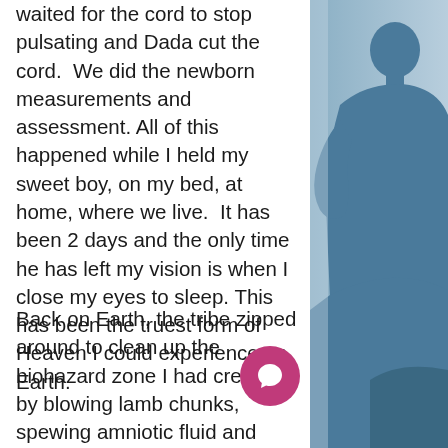waited for the cord to stop pulsating and Dada cut the cord. We did the newborn measurements and assessment. All of this happened while I held my sweet boy, on my bed, at home, where we live. It has been 2 days and the only time he has left my vision is when I close my eyes to sleep. This has been the truest form of Heaven I could experience on Earth.
Back on Earth, the tribe zipped around to clean up the biohazard zone I had created by blowing lamb chunks, spewing amniotic fluid and shooting blood at sneeze rates onto the tribe's outfits. Yikes. Birth workers deal with a lot of crappy things. These people are part of the sainthood.
[Figure (illustration): Blue-tinted silhouette of a person (likely a woman) against a light blue background, occupying the right column of the page.]